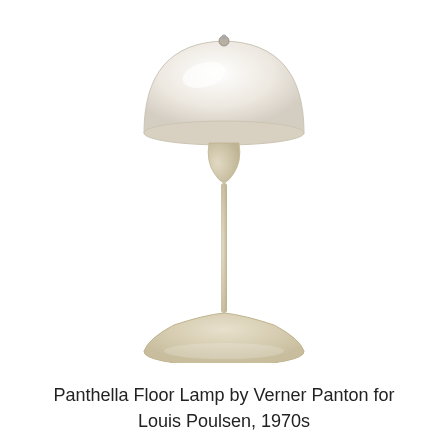[Figure (photo): Panthella Floor Lamp by Verner Panton for Louis Poulsen, 1970s. A mid-century modern floor lamp with a large white dome/mushroom-shaped shade on a slender stem that flares out into a wide tulip base. The shade is glossy white/cream and the stem and base are cream/beige colored. A white power cord is visible at the base.]
Panthella Floor Lamp by Verner Panton for Louis Poulsen, 1970s